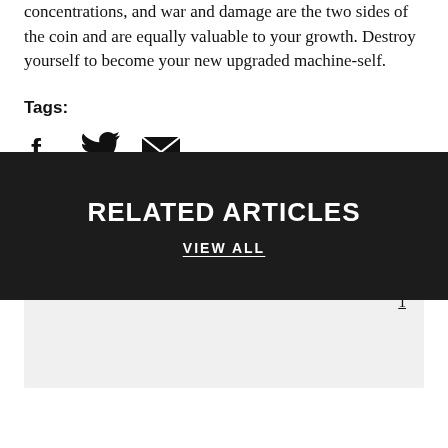concentrations, and war and damage are the two sides of the coin and are equally valuable to your growth. Destroy yourself to become your new upgraded machine-self.
Tags:
[Figure (other): Social share icons: Facebook (f), Twitter (bird), Email (envelope)]
< PREV
The Extra Mile
NEXT >
Back to the Future, Volume 1
RELATED ARTICLES
VIEW ALL